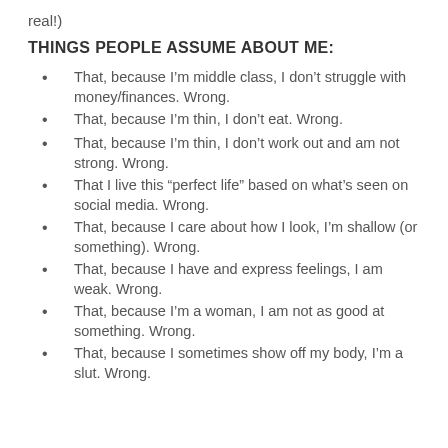real!)
THINGS PEOPLE ASSUME ABOUT ME:
That, because I'm middle class, I don't struggle with money/finances. Wrong.
That, because I'm thin, I don't eat. Wrong.
That, because I'm thin, I don't work out and am not strong. Wrong.
That I live this “perfect life” based on what’s seen on social media. Wrong.
That, because I care about how I look, I’m shallow (or something). Wrong.
That, because I have and express feelings, I am weak. Wrong.
That, because I’m a woman, I am not as good at something. Wrong.
That, because I sometimes show off my body, I’m a slut. Wrong.